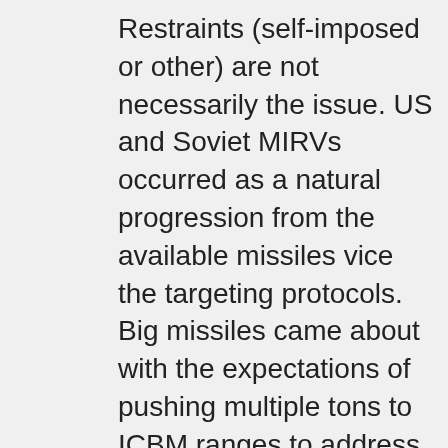Restraints (self-imposed or other) are not necessarily the issue. US and Soviet MIRVs occurred as a natural progression from the available missiles vice the targeting protocols. Big missiles came about with the expectations of pushing multiple tons to ICBM ranges to address the H-Bomb designs of the times. When the compact / lightweight designs arrived; the missiles had a lot more throw weight than necessary and available warhead counts were ‘large’ thus multiple warheads per missile made sense for providing redundant coverage of multiple targets per launcher and the MIRV was born. SLBMs have a natural overhead cost of transport / hosting so bigger multiple warhead SBLMs arise from economics.

China and India are working from design expectations of miniaturized warheads so